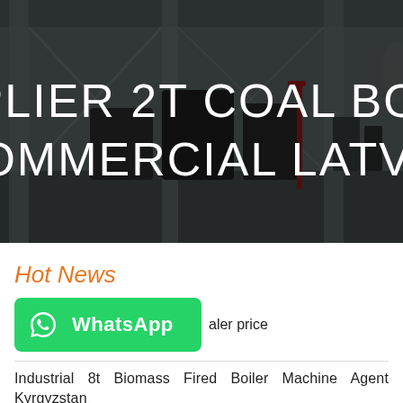[Figure (photo): Industrial boiler manufacturing facility interior with large machinery and equipment, dark overlay with white title text]
SUPPLIER 2T COAL BOILER COMMERCIAL LATVIA
Hot News
WhatsApp  dealer price
Industrial 8t Biomass Fired Boiler Machine Agent Kyrgyzstan